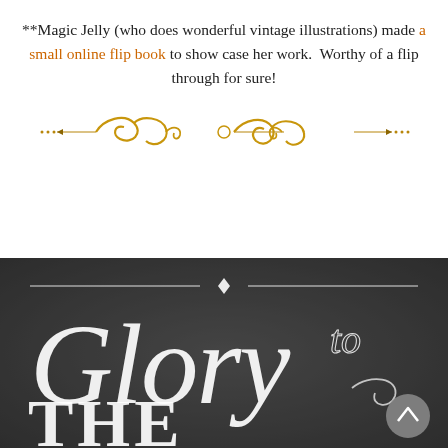**Magic Jelly (who does wonderful vintage illustrations) made a small online flip book to show case her work.  Worthy of a flip through for sure!
[Figure (illustration): Decorative golden scrollwork divider with swirling curves and dotted ends]
[Figure (photo): Dark chalkboard-style image with ornate white vintage typography reading 'Glory to THE' with decorative flourishes and a diamond ornament at the top]